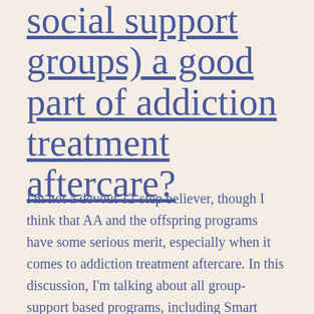social support groups) a good part of addiction treatment aftercare?
I'm not a devout 12-step believer, though I think that AA and the offspring programs have some serious merit, especially when it comes to addiction treatment aftercare. In this discussion, I'm talking about all group-support based programs, including Smart Recovery and others. I'm personally a fan of non-religious groups, but that doesn't [...]